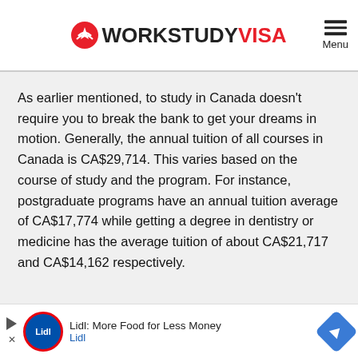WORKSTUDY VISA
As earlier mentioned, to study in Canada doesn't require you to break the bank to get your dreams in motion. Generally, the annual tuition of all courses in Canada is CA$29,714. This varies based on the course of study and the program. For instance, postgraduate programs have an annual tuition average of CA$17,774 while getting a degree in dentistry or medicine has the average tuition of about CA$21,717 and CA$14,162 respectively.
[Figure (other): Lidl advertisement banner: Lidl More Food for Less Money]